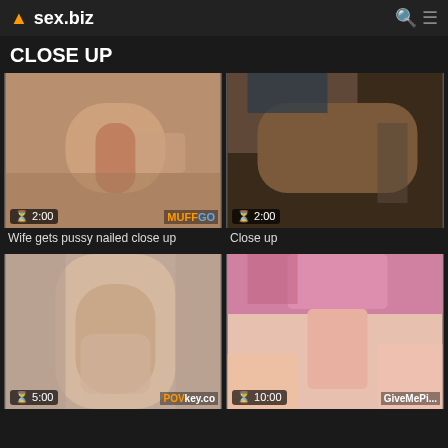sex.biz
CLOSE UP
[Figure (photo): Close-up adult video thumbnail, duration 2:00, watermark MUFFGO]
Wife gets pussy nailed close up
[Figure (photo): Close-up adult video thumbnail, duration 2:00]
Close up
[Figure (photo): Close-up adult video thumbnail, duration 5:00, watermark POVkey.co]
[Figure (photo): Close-up adult video thumbnail, duration 10:00, watermark GiveMePi...]